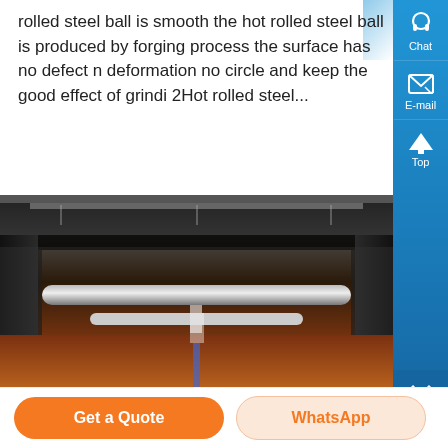rolled steel ball is smooth the hot rolled steel ball is produced by forging process the surface has no defect no deformation no circle and keep the good effect of grindi 2Hot rolled steel...
[Figure (photo): Industrial photo showing a hot rolling steel ball production machine. View of heavy industrial equipment with orange/red hot steel visible on a conveyor, metallic rollers and rods in the center, dark industrial ceiling structure at top.]